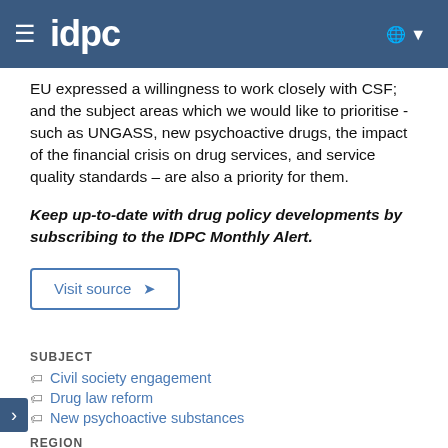IDPC
EU expressed a willingness to work closely with CSF; and the subject areas which we would like to prioritise - such as UNGASS, new psychoactive drugs, the impact of the financial crisis on drug services, and service quality standards – are also a priority for them.
Keep up-to-date with drug policy developments by subscribing to the IDPC Monthly Alert.
Visit source →
SUBJECT
Civil society engagement
Drug law reform
New psychoactive substances
REGION